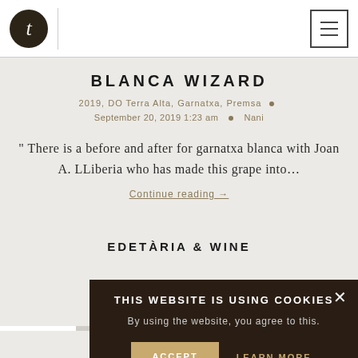t [logo] | [menu button]
BLANCA WIZARD
2019, DO Terra Alta, Garnatxa, Premsa • September 20, 2019 1:23 am • Nani
" There is a before and after for garnatxa blanca with Joan A. LLiberia who has made this grape into…
Continue reading →
THIS WEBSITE IS USING COOKIES
By using the website, you agree to this.
ACCEPT
LEARN MORE
EDETÀR I A & WINE